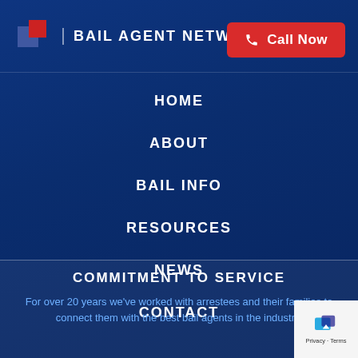[Figure (logo): Bail Agent Network logo with geometric red and blue square icon and text 'BAIL AGENT NETWORK']
Call Now
HOME
ABOUT
BAIL INFO
RESOURCES
NEWS
CONTACT
COMMITMENT TO SERVICE
For over 20 years we've worked with arrestees and their families to connect them with the best bail agents in the industry.